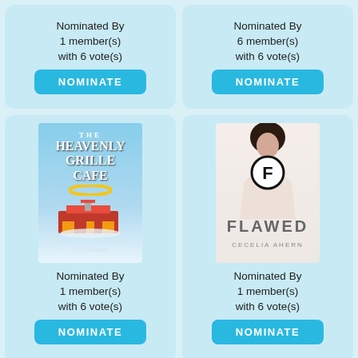Nominated By 1 member(s) with 6 vote(s)
NOMINATE
Nominated By 6 member(s) with 6 vote(s)
NOMINATE
[Figure (photo): Book cover: The Heavenly Grille Cafe by J.T. Livingston]
Nominated By 1 member(s) with 6 vote(s)
NOMINATE
[Figure (photo): Book cover: Flawed by Cecelia Ahern]
Nominated By 1 member(s) with 6 vote(s)
NOMINATE